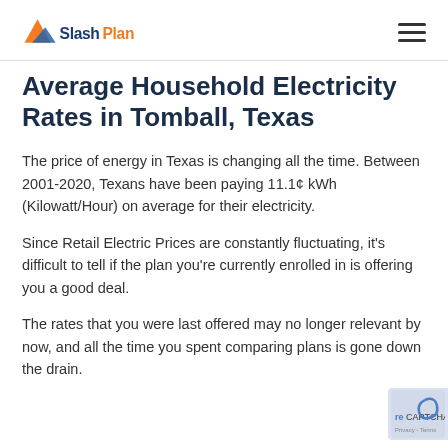SlashPlan
Average Household Electricity Rates in Tomball, Texas
The price of energy in Texas is changing all the time. Between 2001-2020, Texans have been paying 11.1¢ kWh (Kilowatt/Hour) on average for their electricity.
Since Retail Electric Prices are constantly fluctuating, it's difficult to tell if the plan you're currently enrolled in is offering you a good deal.
The rates that you were last offered may no longer relevant by now, and all the time you spent comparing plans is gone down the drain.